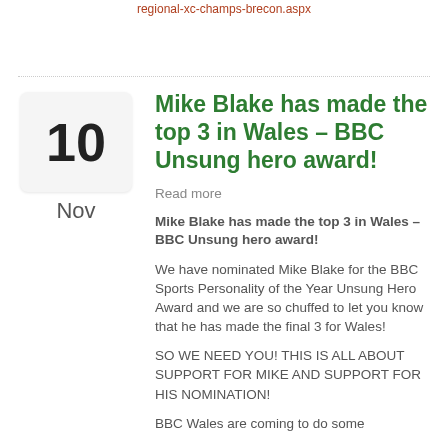regional-xc-champs-brecon.aspx
[Figure (other): Calendar icon showing day 10]
Nov
Mike Blake has made the top 3 in Wales – BBC Unsung hero award!
Read more
Mike Blake has made the top 3 in Wales – BBC Unsung hero award!
We have nominated Mike Blake for the BBC Sports Personality of the Year Unsung Hero Award and we are so chuffed to let you know that he has made the final 3 for Wales!
SO WE NEED YOU! THIS IS ALL ABOUT SUPPORT FOR MIKE AND SUPPORT FOR HIS NOMINATION!
BBC Wales are coming to do some